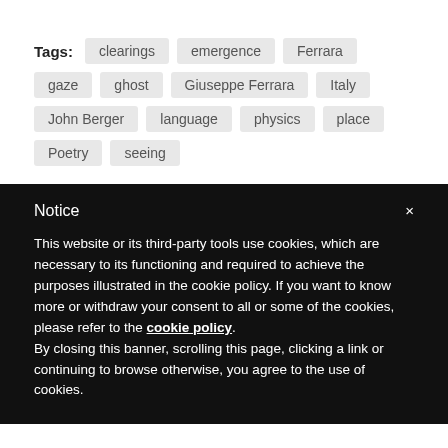Tags: clearings  emergence  Ferrara  gaze  ghost  Giuseppe Ferrara  Italy  John Berger  language  physics  place  Poetry  seeing
Notice
This website or its third-party tools use cookies, which are necessary to its functioning and required to achieve the purposes illustrated in the cookie policy. If you want to know more or withdraw your consent to all or some of the cookies, please refer to the cookie policy. By closing this banner, scrolling this page, clicking a link or continuing to browse otherwise, you agree to the use of cookies.